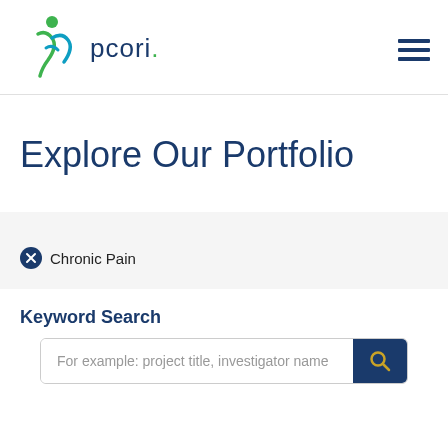[Figure (logo): PCORI logo with stylized figure and text 'pcori']
Explore Our Portfolio
✕ Chronic Pain
Keyword Search
For example: project title, investigator name